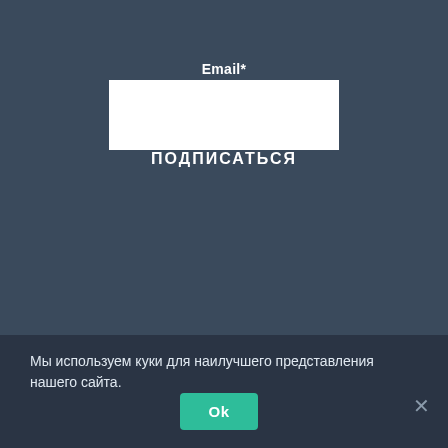Email*
ПОДПИСАТЬСЯ
Администрация сайта не несет никакой ответственности за точность содержания информации опубликованной на сайте, а так же за любые рекомендации или мнения, которые могут содержаться в исследовательских публикациях, и за применимость её к конкретным лицам, по причине субъективности результатов авторских
Мы используем куки для наилучшего представления нашего сайта.
Ok